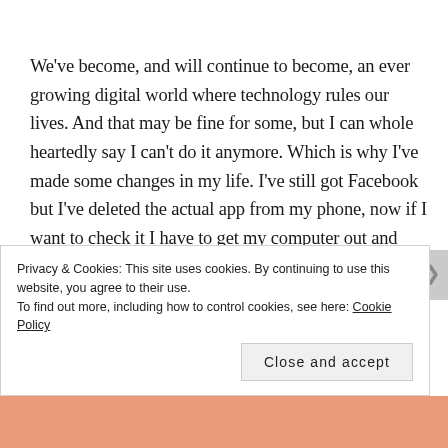We've become, and will continue to become, an ever growing digital world where technology rules our lives. And that may be fine for some, but I can whole heartedly say I can't do it anymore. Which is why I've made some changes in my life. I've still got Facebook but I've deleted the actual app from my phone, now if I want to check it I have to get my computer out and check it the old school way. I've moved apps like Instagram and Snapchat from my main screen on my phone as well as turned off the notifications for those apps too...
Privacy & Cookies: This site uses cookies. By continuing to use this website, you agree to their use. To find out more, including how to control cookies, see here: Cookie Policy
Close and accept